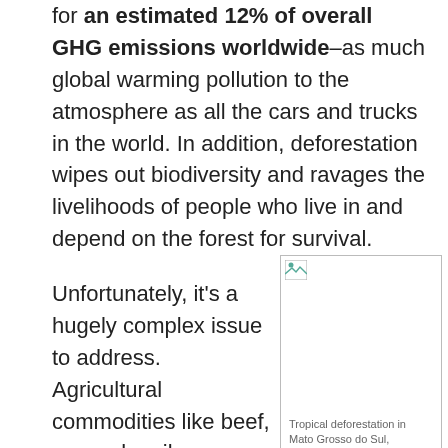for an estimated 12% of overall GHG emissions worldwide–as much global warming pollution to the atmosphere as all the cars and trucks in the world. In addition, deforestation wipes out biodiversity and ravages the livelihoods of people who live in and depend on the forest for survival.
Unfortunately, it's a hugely complex issue to address. Agricultural commodities like beef, soy, palm oil, paper and pulp— ingredients to which...
[Figure (photo): Placeholder image of tropical deforestation in Mato Grosso do Sul, Pantanal, Brazil (Source: BMJ via Shutterstock)]
Tropical deforestation in Mato Grosso do Sul, Pantanal, Brazil (Source: BMJ via Shutterstock)